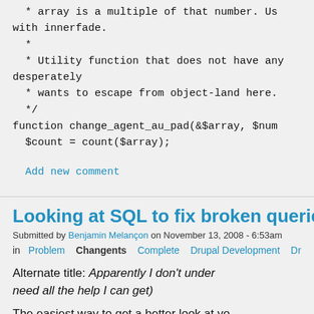* array is a multiple of that number. Use with innerfade.
 *
 * Utility function that does not have any desperately
 * wants to escape from object-land here.
 */
function change_agent_au_pad(&$array, $num
  $count = count($array);
Add new comment
Looking at SQL to fix broken queries in a Drupal e
Submitted by Benjamin Melançon on November 13, 2008 - 6:53am
in  Problem  Changents  Complete  Drupal Development  Dr
Alternate title: Apparently I don't under need all the help I can get)
The easiest way to get a better look at yo